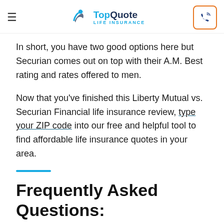TopQuote LIFE INSURANCE
In short, you have two good options here but Securian comes out on top with their A.M. Best rating and rates offered to men.
Now that you’ve finished this Liberty Mutual vs. Securian Financial life insurance review, type your ZIP code into our free and helpful tool to find affordable life insurance quotes in your area.
Frequently Asked Questions: Liberty Mutual vs. Securian Financial